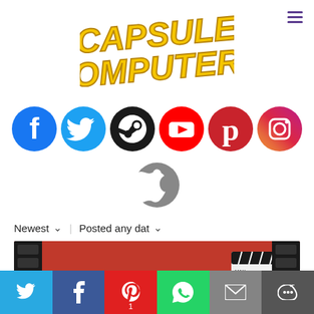[Figure (logo): Capsule Computers logo in orange/yellow pixel-style bold italic text]
[Figure (infographic): Row of social media icons: Facebook (blue), Twitter (light blue), Steam (black), YouTube (red), Pinterest (red), Instagram (gradient). Below: Apple icon (gray).]
Newest ∨ | Posted any dat ∨
[Figure (illustration): Anime illustration showing two characters with a film strip border. One character wearing a 'DIRECTOR' vest, another holding a clapperboard with text MAX, KADOKAWA GAME, MYSTERY, KANADE.]
[Figure (infographic): Bottom share bar with Twitter, Facebook, Pinterest (count:1), WhatsApp, Email, and More buttons.]